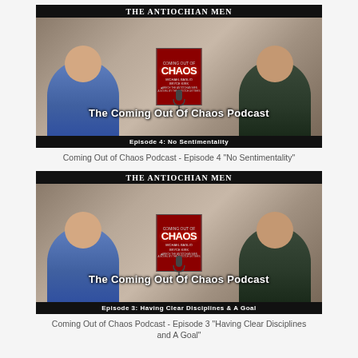[Figure (screenshot): Podcast thumbnail for 'The Coming Out Of Chaos Podcast' Episode 4: No Sentimentality, showing two men sitting with a book cover between them, hosted by The Antiochian Men]
Coming Out of Chaos Podcast - Episode 4 "No Sentimentality"
[Figure (screenshot): Podcast thumbnail for 'The Coming Out Of Chaos Podcast' Episode 3: Having Clear Disciplines & A Goal, showing two men sitting with a book cover between them, hosted by The Antiochian Men]
Coming Out of Chaos Podcast - Episode 3 "Having Clear Disciplines and A Goal"